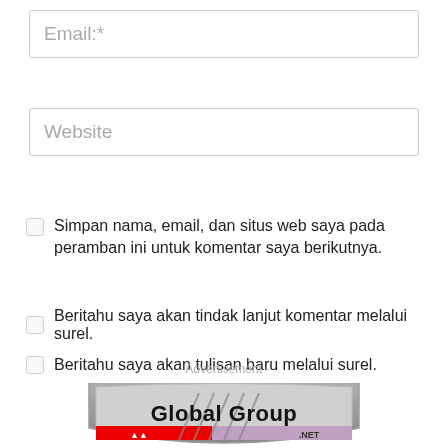Email:*
Website
Simpan nama, email, dan situs web saya pada peramban ini untuk komentar saya berikutnya.
Beritahu saya akan tindak lanjut komentar melalui surel.
Beritahu saya akan tulisan baru melalui surel.
KIRIM KOMENTAR
- Advertisement -
[Figure (logo): Global Group logo with shield shape, red and grey colors, text 'Global Group' in bold black letters]